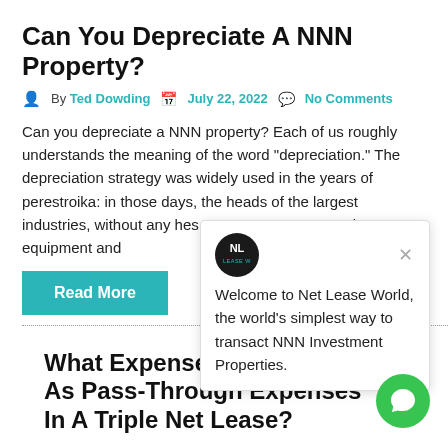Can You Depreciate A NNN Property?
By Ted Dowding  July 22, 2022  No Comments
Can you depreciate a NNN property? Each of us roughly understands the meaning of the word “depreciation.” The depreciation strategy was widely used in the years of perestroika: in those days, the heads of the largest industries, without any hes… expensive equipment and… the amortization of [...]
Read More
[Figure (other): Net Lease World popup dialog with logo and welcome text: Welcome to Net Lease World, the world’s simplest way to transact NNN Investment Properties.]
What Expenses Are Viewed As Pass-Through Expenses In A Triple Net Lease?